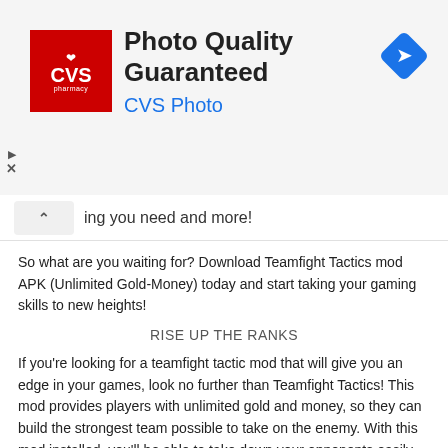[Figure (logo): CVS Pharmacy advertisement banner with red CVS logo, text 'Photo Quality Guaranteed' and 'CVS Photo' in blue, and a blue navigation diamond icon]
ing you need and more!
So what are you waiting for? Download Teamfight Tactics mod APK (Unlimited Gold-Money) today and start taking your gaming skills to new heights!
RISE UP THE RANKS
If you're looking for a teamfight tactic mod that will give you an edge in your games, look no further than Teamfight Tactics! This mod provides players with unlimited gold and money, so they can build the strongest team possible to take on the enemy. With this mod installed, you'll be able to take down your opponents easily, no matter how strong they are.
STYLE ON 'EM